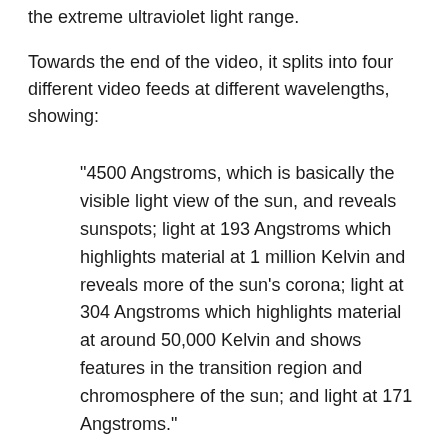the extreme ultraviolet light range.
Towards the end of the video, it splits into four different video feeds at different wavelengths, showing:
"4500 Angstroms, which is basically the visible light view of the sun, and reveals sunspots; light at 193 Angstroms which highlights material at 1 million Kelvin and reveals more of the sun's corona; light at 304 Angstroms which highlights material at around 50,000 Kelvin and shows features in the transition region and chromosphere of the sun; and light at 171 Angstroms."
Even though the SDO is circling the Earth, which is, in turn, circling the Sun, the satellite is still able to keep a remarkably stable view. This has enabled it to provide highly useful